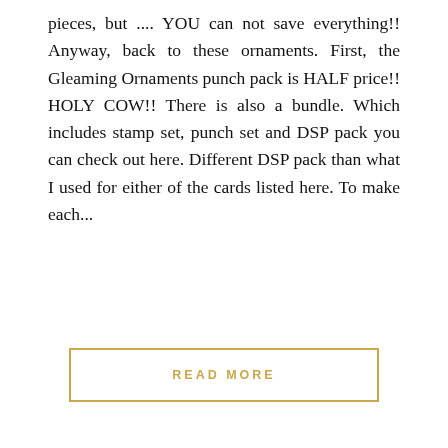pieces, but .... YOU can not save everything!! Anyway, back to these ornaments. First, the Gleaming Ornaments punch pack is HALF price!! HOLY COW!! There is also a bundle. Which includes stamp set, punch set and DSP pack you can check out here. Different DSP pack than what I used for either of the cards listed here. To make each...
READ MORE
Whispers In Ink
HOLIDAY CARDS, LOVE IT, CHOP IT, STAMP CAMP/CLASS
DSP Curvy Merry Christmas for the library